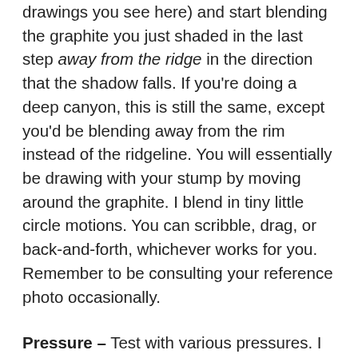drawings you see here) and start blending the graphite you just shaded in the last step away from the ridge in the direction that the shadow falls. If you're doing a deep canyon, this is still the same, except you'd be blending away from the rim instead of the ridgeline. You will essentially be drawing with your stump by moving around the graphite. I blend in tiny little circle motions. You can scribble, drag, or back-and-forth, whichever works for you. Remember to be consulting your reference photo occasionally.
Pressure – Test with various pressures. I find that I use a medium-to-heavy pressure when I blend. Don't be shy when you blend; you can tilt the tool to get broader coverage. Now is also a good time to mention that I spend the majority of time using the blending stump/tortillon when I draw hillshade. It's true, I'm blending or drawing with the blending tool